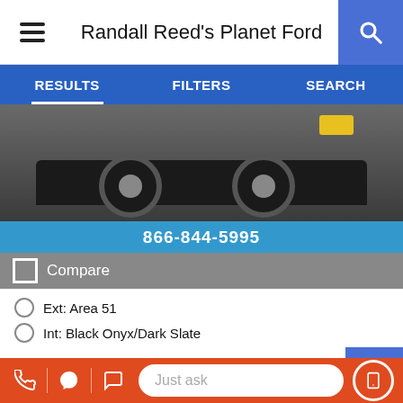Randall Reed's Planet Ford
RESULTS  FILTERS  SEARCH
[Figure (photo): Partial view of a dark-colored vehicle (wheels visible) on a gray background with a blue phone number bar showing 866-844-5995]
Compare
Ext: Area 51
Int: Black Onyx/Dark Slate
Stock #: NW8E9987-O
Fuel Type: Unknown
MSRP  $21
Conditional Incentives
Military Appreciation **  -$500
Just ask